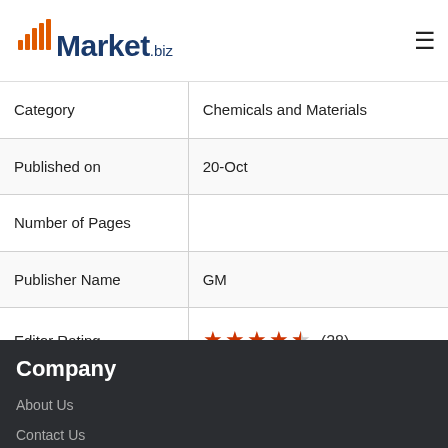Market.biz
| Category | Published on | Number of Pages | Publisher Name | Editor Rating |
| --- | --- | --- | --- | --- |
| Category | Chemicals and Materials |
| Published on | 20-Oct |
| Number of Pages |  |
| Publisher Name | GM |
| Editor Rating | ★★★★½ (28) |
Company
About Us
Contact Us
Market Research Reports
HTML Sitemap